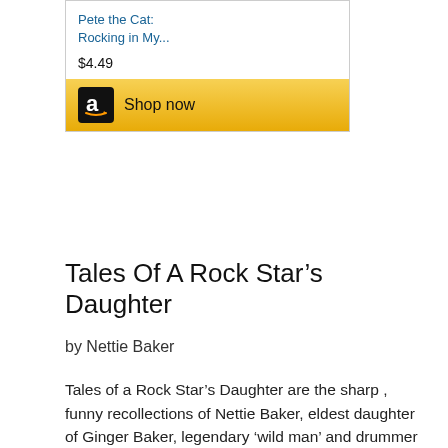[Figure (screenshot): Amazon product advertisement box showing 'Pete the Cat: Rocking in My...' priced at $4.49 with a golden 'Shop now' button featuring the Amazon logo]
Tales Of A Rock Star's Daughter
by Nettie Baker
Tales of a Rock Star's Daughter are the sharp , funny recollections of Nettie Baker, eldest daughter of Ginger Baker, legendary 'wild man' and drummer with the Graham Bond Organisation, Cream, Blind Faith and Airforce.
From poverty to riches and back, featuring a colourful cast of characters known and unknown. Famous faces of the music world and aristocracy are scattered